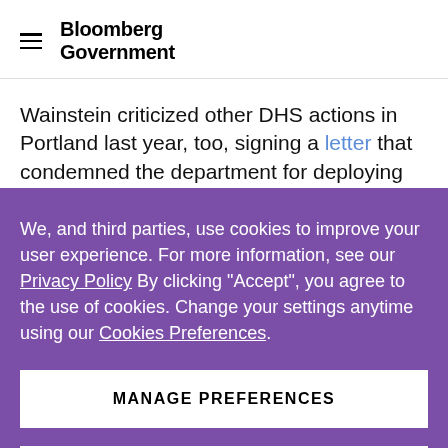Bloomberg Government
Wainstein criticized other DHS actions in Portland last year, too, signing a letter that condemned the department for deploying Border Patrol agents and
We, and third parties, use cookies to improve your user experience. For more information, see our Privacy Policy By clicking "Accept", you agree to the use of cookies. Change your settings anytime using our Cookies Preferences.
MANAGE PREFERENCES
ACCEPT